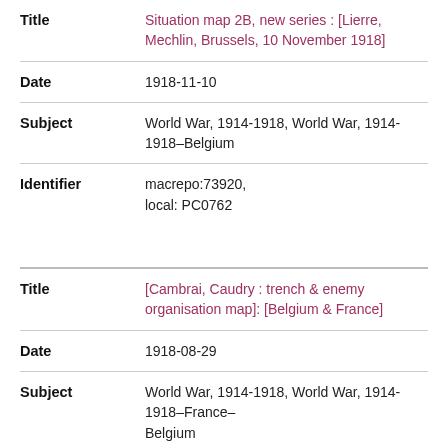| Field | Value |
| --- | --- |
| Title | Situation map 2B, new series : [Lierre, Mechlin, Brussels, 10 November 1918] |
| Date | 1918-11-10 |
| Subject | World War, 1914-1918, World War, 1914-1918–Belgium |
| Identifier | macrepo:73920, local: PC0762 |
| Field | Value |
| --- | --- |
| Title | [Cambrai, Caudry : trench & enemy organisation map]: [Belgium & France] |
| Date | 1918-08-29 |
| Subject | World War, 1914-1918, World War, 1914-1918–France–Belgium |